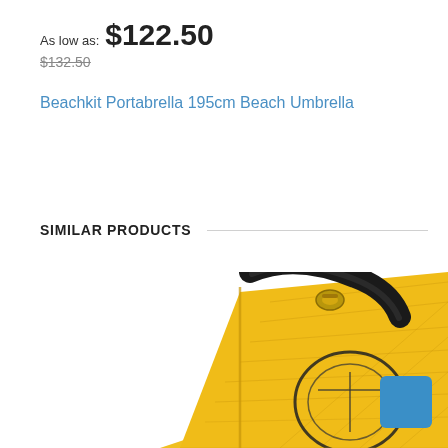As low as: $122.50
$132.50
Beachkit Portabrella 195cm Beach Umbrella
SIMILAR PRODUCTS
[Figure (photo): A yellow beach umbrella bag/carry case with black handle and black circular logo detail, photographed from close range showing the top corner of the bag with a metal clip/hook attachment.]